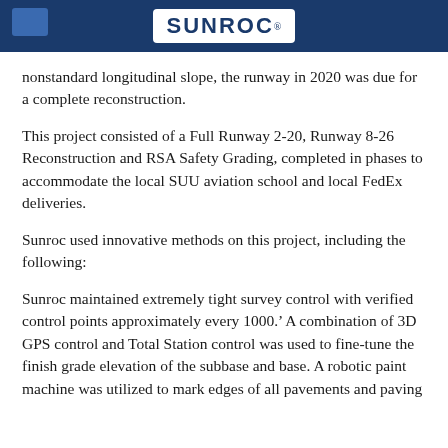SUNROC
nonstandard longitudinal slope, the runway in 2020 was due for a complete reconstruction.
This project consisted of a Full Runway 2-20, Runway 8-26 Reconstruction and RSA Safety Grading, completed in phases to accommodate the local SUU aviation school and local FedEx deliveries.
Sunroc used innovative methods on this project, including the following:
Sunroc maintained extremely tight survey control with verified control points approximately every 1000.’ A combination of 3D GPS control and Total Station control was used to fine-tune the finish grade elevation of the subbase and base. A robotic paint machine was utilized to mark edges of all pavements and paving